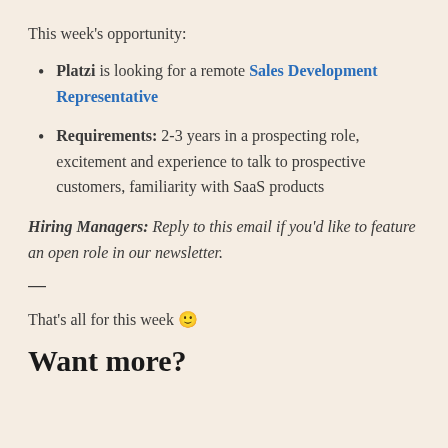This week's opportunity:
Platzi is looking for a remote Sales Development Representative
Requirements: 2-3 years in a prospecting role, excitement and experience to talk to prospective customers, familiarity with SaaS products
Hiring Managers: Reply to this email if you'd like to feature an open role in our newsletter.
—
That's all for this week 🙂
Want more?